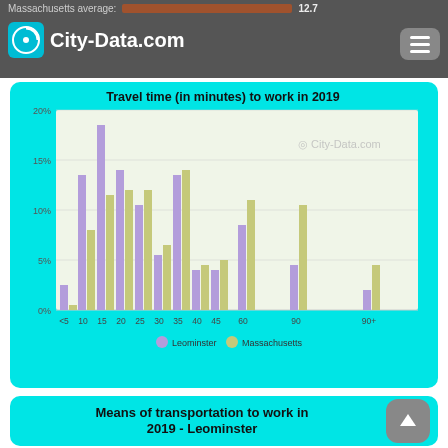Massachusetts average: 12.7 | City-Data.com
[Figure (grouped-bar-chart): Travel time (in minutes) to work in 2019]
Means of transportation to work in 2019 - Leominster